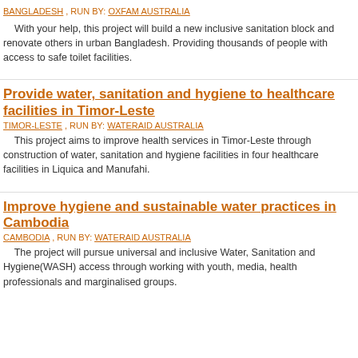BANGLADESH , RUN BY: OXFAM AUSTRALIA
With your help, this project will build a new inclusive sanitation block and renovate others in urban Bangladesh. Providing thousands of people with access to safe toilet facilities.
Provide water, sanitation and hygiene to healthcare facilities in Timor-Leste
TIMOR-LESTE , RUN BY: WATERAID AUSTRALIA
This project aims to improve health services in Timor-Leste through construction of water, sanitation and hygiene facilities in four healthcare facilities in Liquica and Manufahi.
Improve hygiene and sustainable water practices in Cambodia
CAMBODIA , RUN BY: WATERAID AUSTRALIA
The project will pursue universal and inclusive Water, Sanitation and Hygiene(WASH) access through working with youth, media, health professionals and marginalised groups.